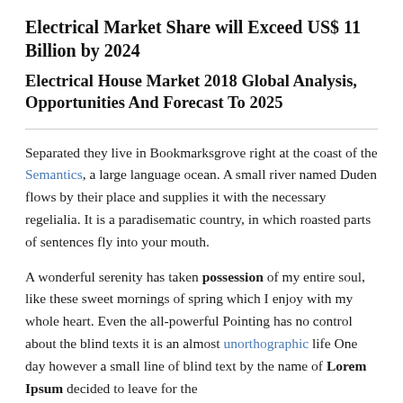Electrical Market Share will Exceed US$ 11 Billion by 2024
Electrical House Market 2018 Global Analysis, Opportunities And Forecast To 2025
Separated they live in Bookmarksgrove right at the coast of the Semantics, a large language ocean. A small river named Duden flows by their place and supplies it with the necessary regelialia. It is a paradisematic country, in which roasted parts of sentences fly into your mouth.
A wonderful serenity has taken possession of my entire soul, like these sweet mornings of spring which I enjoy with my whole heart. Even the all-powerful Pointing has no control about the blind texts it is an almost unorthographic life One day however a small line of blind text by the name of Lorem Ipsum decided to leave for the